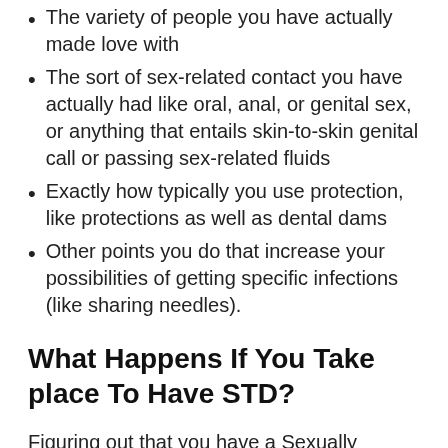The variety of people you have actually made love with
The sort of sex-related contact you have actually had like oral, anal, or genital sex, or anything that entails skin-to-skin genital call or passing sex-related fluids
Exactly how typically you use protection, like protections as well as dental dams
Other points you do that increase your possibilities of getting specific infections (like sharing needles).
What Happens If You Take place To Have STD?
Figuring out that you have a Sexually